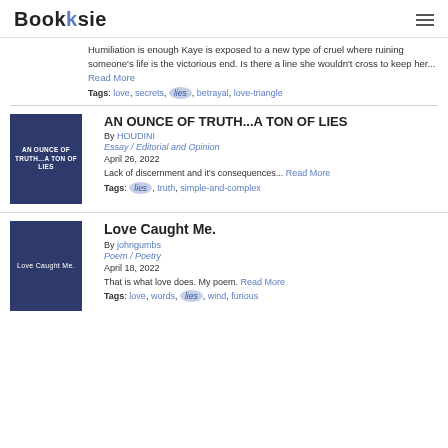Booksie
Humiliation is enough Kaye is exposed to a new type of cruel where ruining someone's life is the victorious end. Is there a line she wouldn't cross to keep her... Read More
Tags: love, secrets, lies, betrayal, love-triangle
AN OUNCE OF TRUTH...A TON OF LIES
By HOUDINI
Essay / Editorial and Opinion
April 26, 2022
Lack of discernment and it's consequences... Read More
Tags: lies, truth, simple-and-complex
Love Caught Me.
By johngumbs
Poem / Poetry
April 18, 2022
That is what love does. My poem. Read More
Tags: love, words, lies, wind, furious